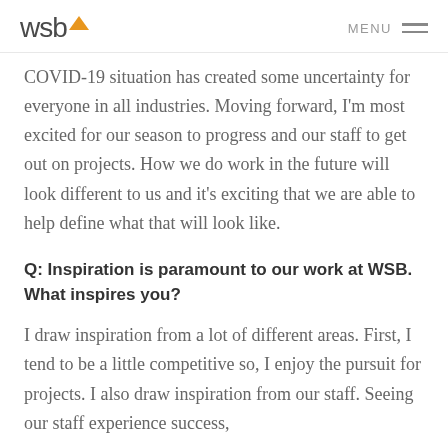wsb | MENU
COVID-19 situation has created some uncertainty for everyone in all industries. Moving forward, I'm most excited for our season to progress and our staff to get out on projects. How we do work in the future will look different to us and it's exciting that we are able to help define what that will look like.
Q: Inspiration is paramount to our work at WSB. What inspires you?
I draw inspiration from a lot of different areas. First, I tend to be a little competitive so, I enjoy the pursuit for projects. I also draw inspiration from our staff. Seeing our staff experience success,